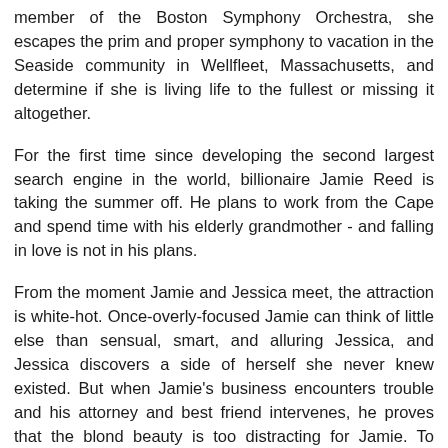member of the Boston Symphony Orchestra, she escapes the prim and proper symphony to vacation in the Seaside community in Wellfleet, Massachusetts, and determine if she is living life to the fullest or missing it altogether.
For the first time since developing the second largest search engine in the world, billionaire Jamie Reed is taking the summer off. He plans to work from the Cape and spend time with his elderly grandmother - and falling in love is not in his plans.
From the moment Jamie and Jessica meet, the attraction is white-hot. Once-overly-focused Jamie can think of little else than sensual, smart, and alluring Jessica, and Jessica discovers a side of herself she never knew existed. But when Jamie's business encounters trouble and his attorney and best friend intervenes, he proves that the blond beauty is too distracting for Jamie. To make matters worse, it appears that Jessica might not be who she says she is, turning Jamie's life - and his heart - upside down. In a world where personal information is always one click away, Jamie must decide if he should trust his heart or watch the woman